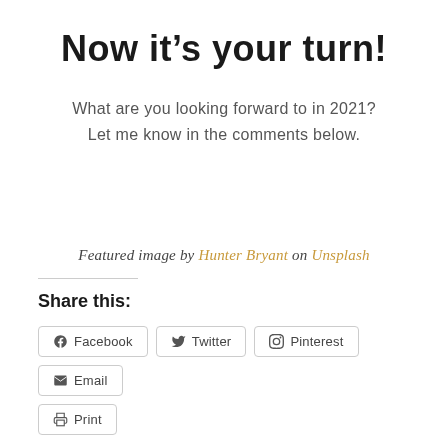Now it’s your turn!
What are you looking forward to in 2021? Let me know in the comments below.
Featured image by Hunter Bryant on Unsplash
Share this:
Facebook
Twitter
Pinterest
Email
Print